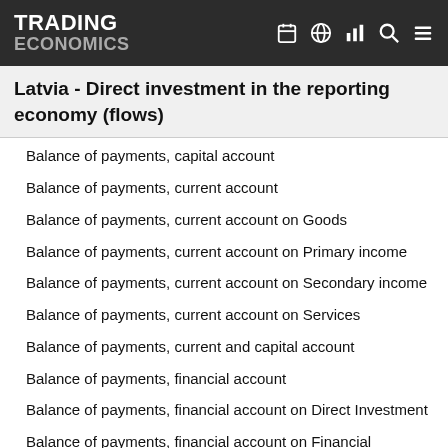TRADING ECONOMICS
Latvia - Direct investment in the reporting economy (flows)
Balance of payments, capital account
Balance of payments, current account
Balance of payments, current account on Goods
Balance of payments, current account on Primary income
Balance of payments, current account on Secondary income
Balance of payments, current account on Services
Balance of payments, current and capital account
Balance of payments, financial account
Balance of payments, financial account on Direct Investment
Balance of payments, financial account on Financial derivatives and employee stock options
Balance of payments, financial account on Net errors and omissions
Balance of payments, financial account on Other Investment